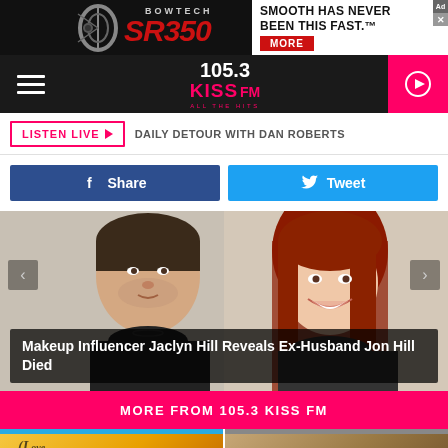[Figure (screenshot): Bowtech SR350 advertisement banner with red logo text on black background, white box on right with 'SMOOTH HAS NEVER BEEN THIS FAST.' and red MORE button]
[Figure (logo): 105.3 KISS FM All The Hits radio station logo in white and pink on dark navigation bar with hamburger menu and pink play button]
LISTEN LIVE ▶  DAILY DETOUR WITH DAN ROBERTS
[Figure (screenshot): Facebook Share button (dark blue) and Twitter Tweet button (light blue)]
[Figure (photo): Photo of two people - a man with facial stubble in black shirt on the left, and a woman with red hair smiling on the right, with slideshow navigation arrows]
Makeup Influencer Jaclyn Hill Reveals Ex-Husband Jon Hill Died
MORE FROM 105.3 KISS FM
[Figure (photo): Two thumbnail images at the bottom - left one with yellow/gold background showing partial text, right one with brown/tan background]